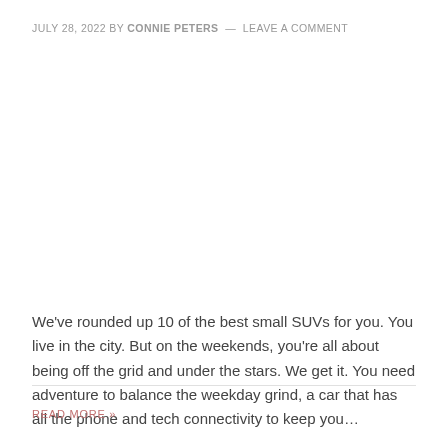JULY 28, 2022 BY CONNIE PETERS — LEAVE A COMMENT
We've rounded up 10 of the best small SUVs for you. You live in the city. But on the weekends, you're all about being off the grid and under the stars. We get it. You need adventure to balance the weekday grind, a car that has all the phone and tech connectivity to keep you…
READ MORE »